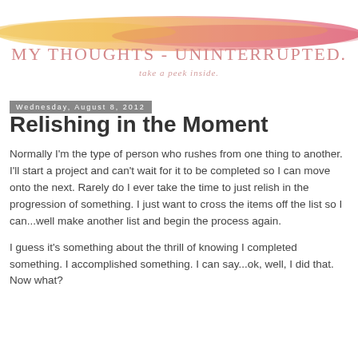[Figure (logo): Blog header image with watercolor brush strokes in yellow, orange, and red/pink, with text 'MY THOUGHTS - UNINTERRUPTED.' and subtitle 'take a peek inside.']
Wednesday, August 8, 2012
Relishing in the Moment
Normally I'm the type of person who rushes from one thing to another. I'll start a project and can't wait for it to be completed so I can move onto the next. Rarely do I ever take the time to just relish in the progression of something. I just want to cross the items off the list so I can...well make another list and begin the process again.
I guess it's something about the thrill of knowing I completed something. I accomplished something. I can say...ok, well, I did that. Now what?